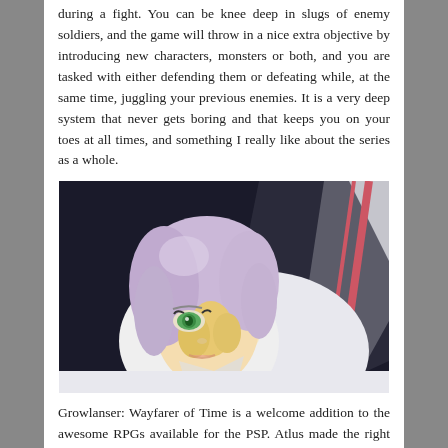during a fight. You can be knee deep in slugs of enemy soldiers, and the game will throw in a nice extra objective by introducing new characters, monsters or both, and you are tasked with either defending them or defeating while, at the same time, juggling your previous enemies. It is a very deep system that never gets boring and that keeps you on your toes at all times, and something I really like about the series as a whole.
[Figure (illustration): Anime-style illustration of a female character with light purple/lavender hair and green eyes, wearing a white outfit, looking upward. Dark background with diagonal striped elements in red and black/white.]
Growlanser: Wayfarer of Time is a welcome addition to the awesome RPGs available for the PSP. Atlus made the right call in bringing this game out of Japan, and the amount of content you get for the low price makes it easy